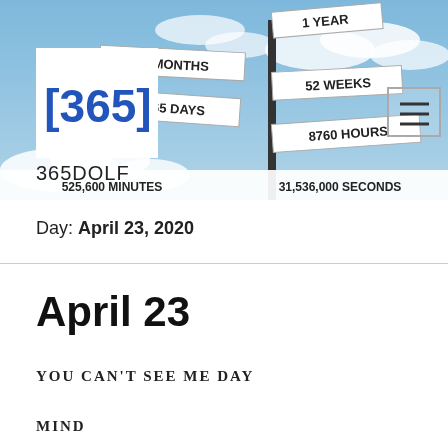[Figure (photo): Header banner photo showing a street sign post with multiple directional signs reading: 1 YEAR, 12 MONTHS, 52 WEEKS, 365 DAYS, 8760 HOURS, 525,600 MINUTES, 31,536,000 SECONDS, against a blue sky with clouds. A [365] logo in a white box appears in the upper left, and a hamburger menu icon in a white-bordered box appears in the upper right.]
365DOLF
Day: April 23, 2020
April 23
YOU CAN'T SEE ME DAY
MIND